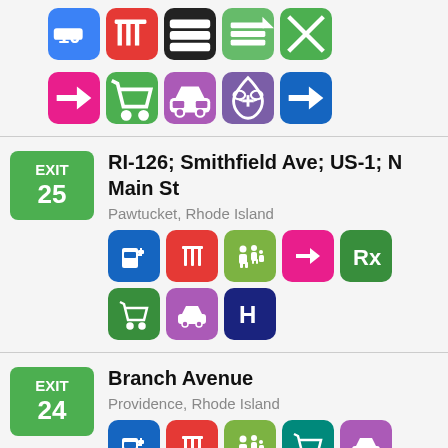[Figure (infographic): Top partial row of service icons: pink arrow, green shopping cart, purple car, purple medical symbol, blue arrow]
EXIT 25
RI-126; Smithfield Ave; US-1; N Main St
Pawtucket, Rhode Island
[Figure (infographic): Service icons for Exit 25: gas pump (blue), restaurant/utensils (red), family (green), arrow (pink), Rx pharmacy (green), shopping cart (green), car (purple), hospital H (dark blue)]
EXIT 24
Branch Avenue
Providence, Rhode Island
[Figure (infographic): Service icons for Exit 24: gas pump (blue), restaurant/utensils (red), family (green), shopping cart (teal), car (purple)]
EXIT
Charles St; RI-146 N